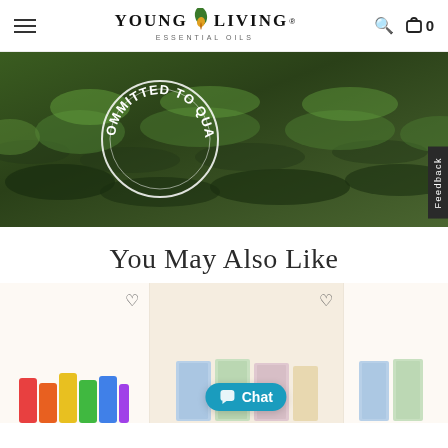Young Living Essential Oils — navigation header with hamburger menu, logo, search icon, and cart (0)
[Figure (photo): Hero banner image showing plants/crops with a circular 'Committed to Quality' badge overlaid. A dark 'Feedback' tab appears on the right edge.]
You May Also Like
[Figure (photo): Three product cards showing Young Living product thumbnails with heart/wishlist icons. A teal chat bubble with 'Chat' text appears over the middle card.]